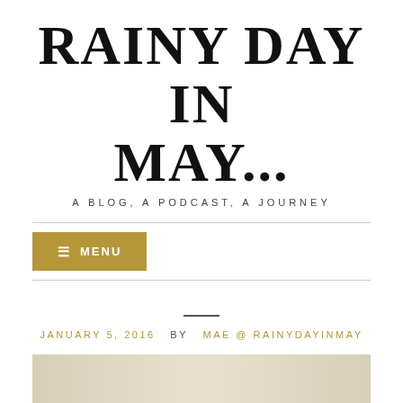RAINY DAY IN MAY...
A BLOG, A PODCAST, A JOURNEY
≡ MENU
JANUARY 5, 2016  BY  MAE @ RAINYDAYINMAY
[Figure (photo): A light beige/cream gradient background image at the bottom of the page]